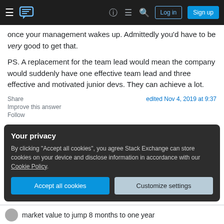Stack Exchange navigation bar with hamburger menu, logo, help, chat, search, Log in and Sign up buttons
once your management wakes up. Admittedly you'd have to be very good to get that.

PS. A replacement for the team lead would mean the company would suddenly have one effective team lead and three effective and motivated junior devs. They can achieve a lot.
Share | edited Nov 4, 2019 at 9:37
Improve this answer
Follow
Your privacy
By clicking "Accept all cookies", you agree Stack Exchange can store cookies on your device and disclose information in accordance with our Cookie Policy.
Accept all cookies  Customize settings
market value to jump 8 months to one year